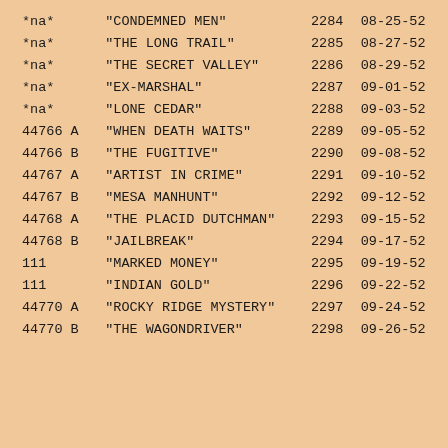| ID | Title | Num | Date |
| --- | --- | --- | --- |
| *na* | "CONDEMNED MEN" | 2284 | 08-25-52 |
| *na* | "THE LONG TRAIL" | 2285 | 08-27-52 |
| *na* | "THE SECRET VALLEY" | 2286 | 08-29-52 |
| *na* | "EX-MARSHAL" | 2287 | 09-01-52 |
| *na* | "LONE CEDAR" | 2288 | 09-03-52 |
| 44766 A | "WHEN DEATH WAITS" | 2289 | 09-05-52 |
| 44766 B | "THE FUGITIVE" | 2290 | 09-08-52 |
| 44767 A | "ARTIST IN CRIME" | 2291 | 09-10-52 |
| 44767 B | "MESA MANHUNT" | 2292 | 09-12-52 |
| 44768 A | "THE PLACID DUTCHMAN" | 2293 | 09-15-52 |
| 44768 B | "JAILBREAK" | 2294 | 09-17-52 |
| 111 | "MARKED MONEY" | 2295 | 09-19-52 |
| 111 | "INDIAN GOLD" | 2296 | 09-22-52 |
| 44770 A | "ROCKY RIDGE MYSTERY" | 2297 | 09-24-52 |
| 44770 B | "THE WAGONDRIVER" | 2298 | 09-26-52 |